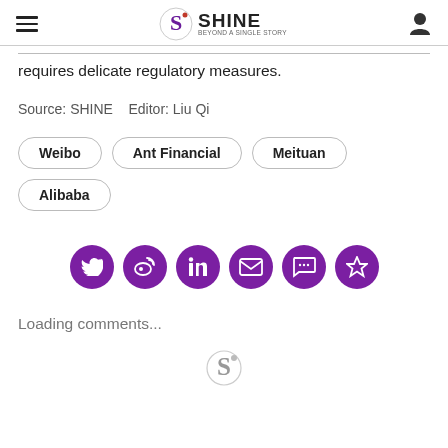SHINE — Beyond a Single Story
requires delicate regulatory measures.
Source: SHINE   Editor: Liu Qi
Weibo
Ant Financial
Meituan
Alibaba
[Figure (other): Social sharing icons: Twitter, Weibo, LinkedIn, Email, Comment, Bookmark — purple circles]
Loading comments...
[Figure (logo): SHINE logo mark at bottom of page]